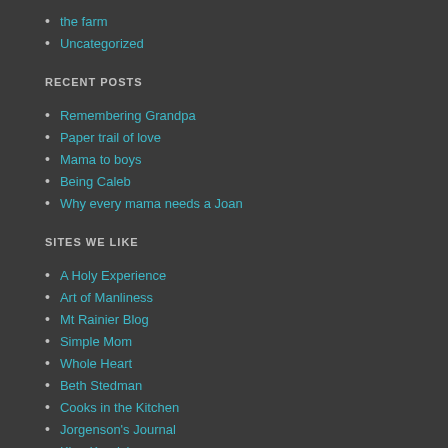the farm
Uncategorized
RECENT POSTS
Remembering Grandpa
Paper trail of love
Mama to boys
Being Caleb
Why every mama needs a Joan
SITES WE LIKE
A Holy Experience
Art of Manliness
Mt Rainier Blog
Simple Mom
Whole Heart
Beth Stedman
Cooks in the Kitchen
Jorgenson's Journal
King Kronicles
Nate & Monica Rich
Tina Bustamante